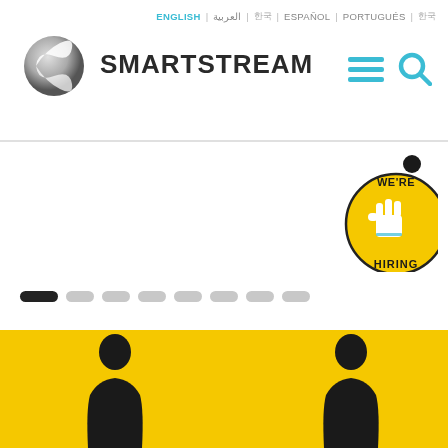[Figure (logo): SmartStream logo with stylized circular icon and SMARTSTREAM wordmark in dark grey]
ENGLISH | العربية | 한국 | ESPAÑOL | PORTUGUÉS | 한국
[Figure (infographic): Yellow circular badge with 'WE'RE HIRING' text and hand icon, with small black circle above]
[Figure (infographic): Slider navigation dots - first dot black/active, remaining dots light grey]
[Figure (photo): Yellow background section with two dark silhouette figures at bottom]